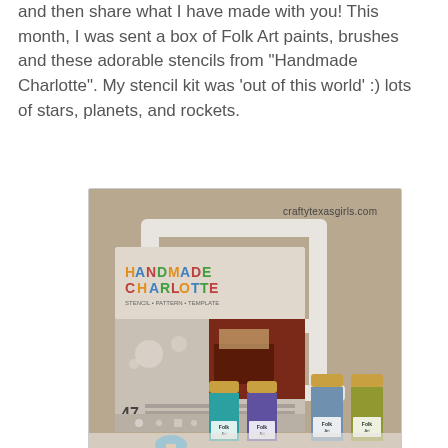and then share what I have made with you! This month, I was sent a box of Folk Art paints, brushes and these adorable stencils from "Handmade Charlotte". My stencil kit was 'out of this world' :) lots of stars, planets, and rockets.
[Figure (photo): Photo of a Handmade Charlotte stencil kit package leaning against a white wooden chair, accompanied by four Folk Art paint bottles in teal, purple, blue, and green, plus a sponge brush. Watermark reads craftytexasgirls.com]